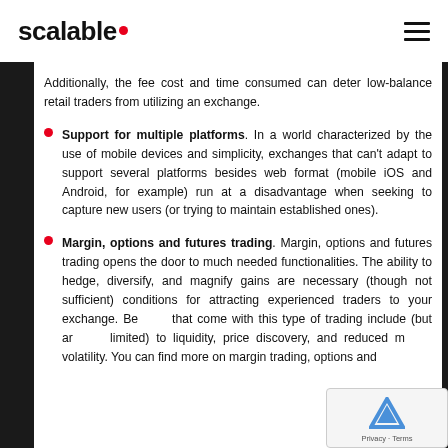scalable.
Additionally, the fee cost and time consumed can deter low-balance retail traders from utilizing an exchange.
Support for multiple platforms. In a world characterized by the use of mobile devices and simplicity, exchanges that can't adapt to support several platforms besides web format (mobile iOS and Android, for example) run at a disadvantage when seeking to capture new users (or trying to maintain established ones).
Margin, options and futures trading. Margin, options and futures trading opens the door to much needed functionalities. The ability to hedge, diversify, and magnify gains are necessary (though not sufficient) conditions for attracting experienced traders to your exchange. Benefits that come with this type of trading include (but are not limited) to liquidity, price discovery, and reduced market volatility. You can find more on margin trading, options and